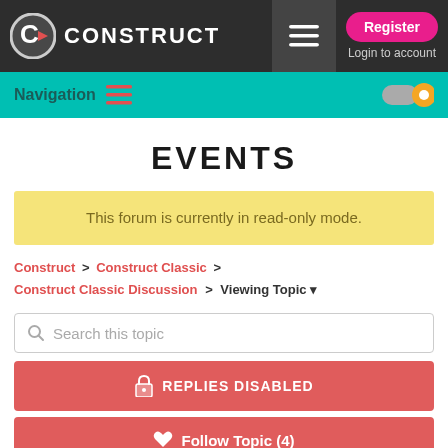Construct — Register | Login to account
Navigation
EVENTS
This forum is currently in read-only mode.
Construct > Construct Classic > Construct Classic Discussion > Viewing Topic
Search this topic
REPLIES DISABLED
Follow Topic (4)